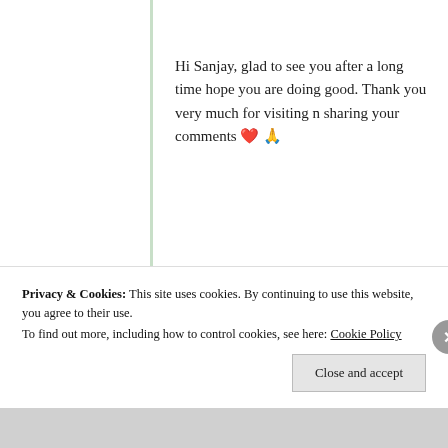Hi Sanjay, glad to see you after a long time hope you are doing good. Thank you very much for visiting n sharing your comments ❤️ 🙏
★ Like
Log in to Reply
[Figure (screenshot): Empty comment text box]
Privacy & Cookies: This site uses cookies. By continuing to use this website, you agree to their use. To find out more, including how to control cookies, see here: Cookie Policy
Close and accept